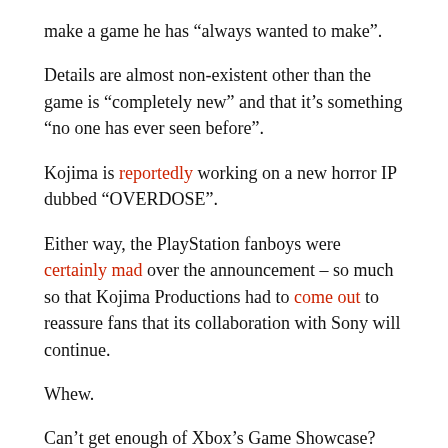make a game he has “always wanted to make”.
Details are almost non-existent other than the game is “completely new” and that it’s something “no one has ever seen before”.
Kojima is reportedly working on a new horror IP dubbed “OVERDOSE”.
Either way, the PlayStation fanboys were certainly mad over the announcement – so much so that Kojima Productions had to come out to reassure fans that its collaboration with Sony will continue.
Whew.
Can’t get enough of Xbox’s Game Showcase? You can catch an extended version – which took place days after the Xbox and Bethesda Games Showcase – here.